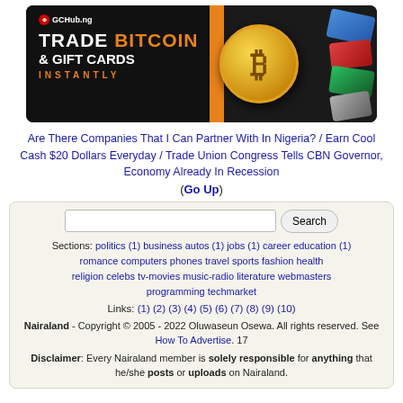[Figure (advertisement): GCHub.ng banner ad: TRADE BITCOIN & GIFT CARDS INSTANTLY, with bitcoin coin graphic and gift cards on dark background]
Are There Companies That I Can Partner With In Nigeria? / Earn Cool Cash $20 Dollars Everyday / Trade Union Congress Tells CBN Governor, Economy Already In Recession
(Go Up)
Sections: politics (1) business autos (1) jobs (1) career education (1) romance computers phones travel sports fashion health religion celebs tv-movies music-radio literature webmasters programming techmarket
Links: (1) (2) (3) (4) (5) (6) (7) (8) (9) (10)
Nairaland - Copyright © 2005 - 2022 Oluwaseun Osewa. All rights reserved. See How To Advertise. 17
Disclaimer: Every Nairaland member is solely responsible for anything that he/she posts or uploads on Nairaland.